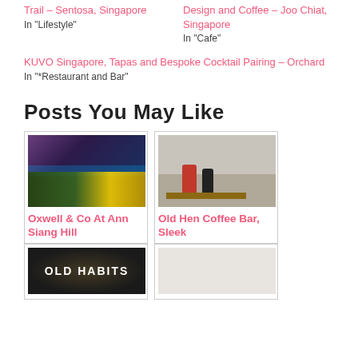Trail – Sentosa, Singapore
In "Lifestyle"
Design and Coffee – Joo Chiat, Singapore
In "Cafe"
KUVO Singapore, Tapas and Bespoke Cocktail Pairing – Orchard
In "*Restaurant and Bar"
Posts You May Like
[Figure (photo): Interior photo of Oxwell & Co restaurant at Ann Siang Hill showing bar area with purple/blue lighting and yellow/green counter]
Oxwell & Co At Ann Siang Hill
[Figure (photo): Interior photo of Old Hen Coffee Bar showing people seated at tables in a bright minimalist space]
Old Hen Coffee Bar, Sleek
[Figure (photo): Exterior photo of Old Habits cafe showing illuminated sign]
[Figure (photo): Photo placeholder for fourth post]